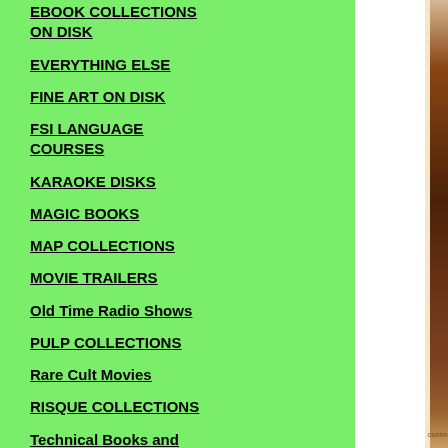EBOOK COLLECTIONS ON DISK
EVERYTHING ELSE
FINE ART ON DISK
FSI LANGUAGE COURSES
KARAOKE DISKS
MAGIC BOOKS
MAP COLLECTIONS
MOVIE TRAILERS
Old Time Radio Shows
PULP COLLECTIONS
Rare Cult Movies
RISQUE COLLECTIONS
Technical Books and Manuals
Video Hypnosis
VINTAGE ARMY FILMS
VINTAGE EDUCATIONAL FILMS
[Figure (photo): Sepia-toned partial photograph of a person, visible on the right side of the page with a cream/tan border strip]